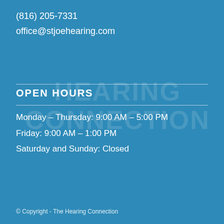(816) 205-7331
office@stjoehearing.com
[Figure (illustration): Watermark text reading 'HEARING CONNECTION' in large semi-transparent white letters on blue background]
OPEN HOURS
Monday – Thursday: 9:00 AM – 5:00 PM
Friday: 9:00 AM – 1:00 PM
Saturday and Sunday: Closed
© Copyright - The Hearing Connection